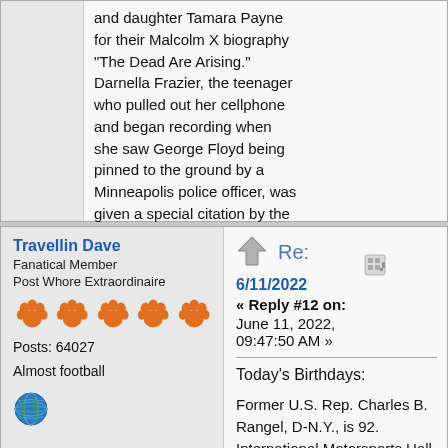and daughter Tamara Payne for their Malcolm X biography "The Dead Are Arising." Darnella Frazier, the teenager who pulled out her cellphone and began recording when she saw George Floyd being pinned to the ground by a Minneapolis police officer, was given a special citation by the Pulitzer Prizes for her video.
Logged
Travellin Dave
Fanatical Member
Post Whore Extraordinaire
Posts: 64027
Almost football
Re:
6/11/2022
« Reply #12 on:
June 11, 2022, 09:47:50 AM »
Today's Birthdays:
Former U.S. Rep. Charles B. Rangel, D-N.Y., is 92. International Motorsports Hall